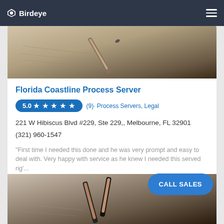Birdeye
[Figure (photo): Close-up photo of a fountain pen resting on handwritten paper]
Florida Coastline Process Server
5.0 ★ ★ ★ ★ ★  (9) · Process Servers, Legal
221 W Hibiscus Blvd #229, Ste 229,, Melbourne, FL 32901
(321) 960-1547
"First time I needed this done and he was very prompt and easy to deal with. Very happy with service as he knew I needed this served rig'...
[Figure (photo): Close-up photo of fountain pens resting on handwritten paper]